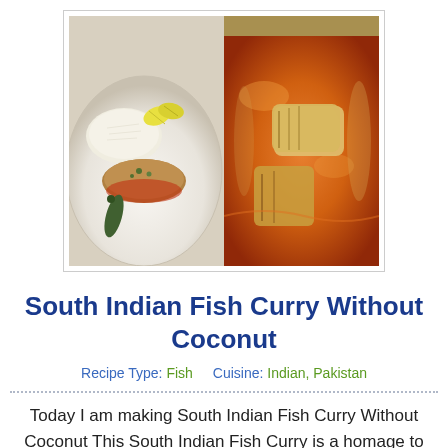[Figure (photo): Two food photos side by side: left shows a plated fish dish with rice and lemon wedges on a white plate with a green chili; right shows fish curry pieces in a golden/brass pot with orange-red curry sauce]
South Indian Fish Curry Without Coconut
Recipe Type: Fish    Cuisine: Indian, Pakistan
Today I am making South Indian Fish Curry Without Coconut This South Indian Fish Curry is a homage to all the regional fish curry recipes that are so unique and special to southern